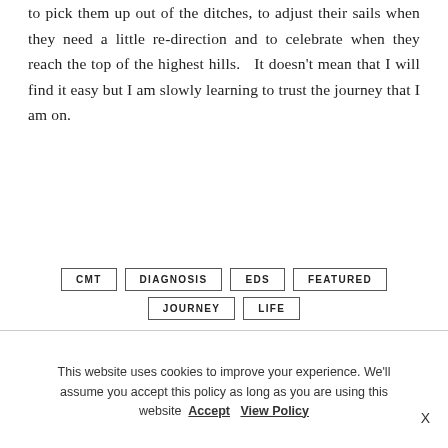to pick them up out of the ditches, to adjust their sails when they need a little re-direction and to celebrate when they reach the top of the highest hills.   It doesn't mean that I will find it easy but I am slowly learning to trust the journey that I am on.
CMT
DIAGNOSIS
EDS
FEATURED
JOURNEY
LIFE
This website uses cookies to improve your experience. We'll assume you accept this policy as long as you are using this website Accept  View Policy